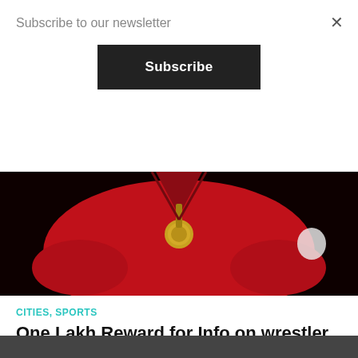Subscribe to our newsletter
Subscribe
[Figure (photo): Person wearing a red outfit with a gold medal, against a dark background]
CITIES, SPORTS
One Lakh Reward for Info on wrestler Sushil Kumar: Delhi Police
New Delhi : The Delhi Police on Monday announced a cash award of Rs.1 lakh for anyone who...
BY IANS
[Figure (photo): Partial image at bottom of page]